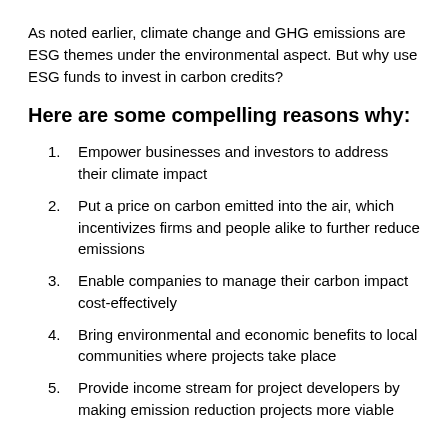As noted earlier, climate change and GHG emissions are ESG themes under the environmental aspect. But why use ESG funds to invest in carbon credits?
Here are some compelling reasons why:
Empower businesses and investors to address their climate impact
Put a price on carbon emitted into the air, which incentivizes firms and people alike to further reduce emissions
Enable companies to manage their carbon impact cost-effectively
Bring environmental and economic benefits to local communities where projects take place
Provide income stream for project developers by making emission reduction projects more viable